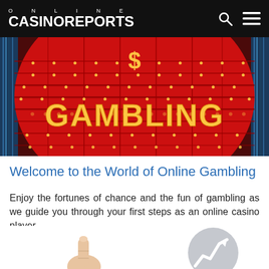ONLINE CASINOREPORTS
[Figure (photo): A large illuminated red sphere sign with the word GAMBLING written in glowing bulb letters, Las Vegas style neon sign at night]
Welcome to the World of Online Gambling
Enjoy the fortunes of chance and the fun of gambling as we guide you through your first steps as an online casino player.
[Figure (photo): Partial bottom images showing a hand pointing finger and a graph/chart arrow icon, partially cropped]